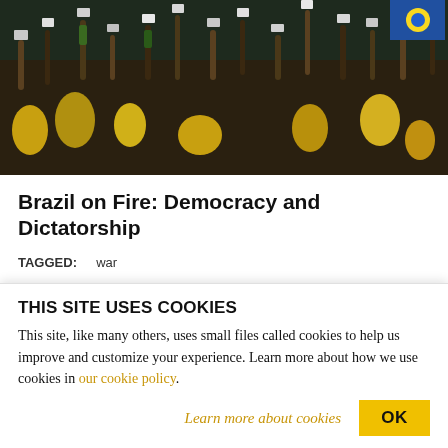[Figure (photo): Crowd of people raising phones and hands, many wearing yellow clothing, at a political rally or event in Brazil.]
Brazil on Fire: Democracy and Dictatorship
TAGGED: war
WILLIAM K. BLACK
William K. Black, author of The Best Way to Rob a Bank is to Own One, teaches economics and law at the University of Missouri Kansas...
THIS SITE USES COOKIES
This site, like many others, uses small files called cookies to help us improve and customize your experience. Learn more about how we use cookies in our cookie policy.
Learn more about cookies
OK